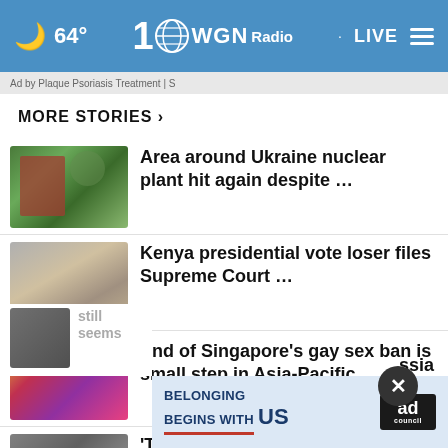64° | WGN Radio 100 | LIVE
Ad by Plaque Psoriasis Treatment | S
MORE STORIES ›
Area around Ukraine nuclear plant hit again despite …
Kenya presidential vote loser files Supreme Court …
End of Singapore's gay sex ban is small step in Asia-Pacific
'Time stopped': Ukrainians long to go home as war …
still seems … (partial, Russia)
[Figure (infographic): Ad overlay: BELONGING BEGINS WITH US with red underline and Ad Council badge]